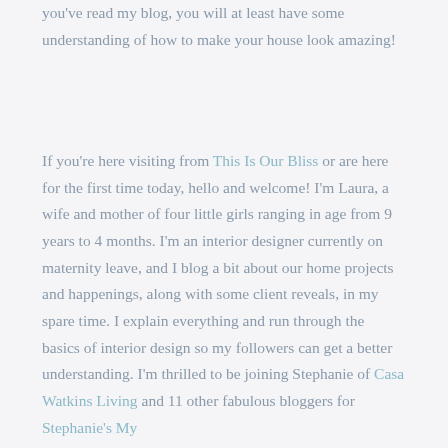you've read my blog, you will at least have some understanding of how to make your house look amazing!
If you're here visiting from This Is Our Bliss or are here for the first time today, hello and welcome! I'm Laura, a wife and mother of four little girls ranging in age from 9 years to 4 months. I'm an interior designer currently on maternity leave, and I blog a bit about our home projects and happenings, along with some client reveals, in my spare time. I explain everything and run through the basics of interior design so my followers can get a better understanding. I'm thrilled to be joining Stephanie of Casa Watkins Living and 11 other fabulous bloggers for Stephanie's My